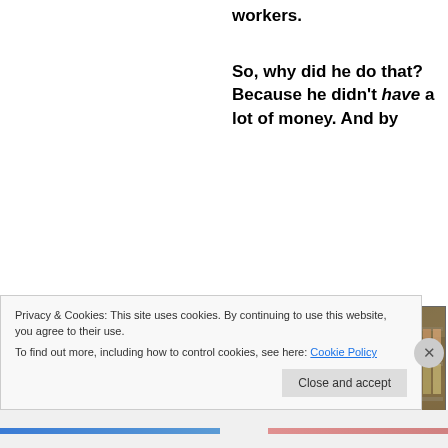workers.
So, why did he do that? Because he didn't have a lot of money. And by taking those chances and becoming a businessperson, taking that little bit
[Figure (photo): Interior of a small shop or store, showing shelves stocked with products, a checkout counter, and a person working behind the counter. Warm vintage tones.]
Privacy & Cookies: This site uses cookies. By continuing to use this website, you agree to their use.
To find out more, including how to control cookies, see here: Cookie Policy